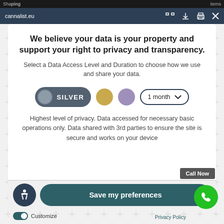cannalist.eu
We believe your data is your property and support your right to privacy and transparency.
Select a Data Access Level and Duration to choose how we use and share your data.
[Figure (infographic): Data access level selector showing SILVER toggle button, gold circle, purple circle, and 1 month duration dropdown]
Highest level of privacy. Data accessed for necessary basic operations only. Data shared with 3rd parties to ensure the site is secure and works on your device
Save my preferences
Call Now
Customize
Privacy Policy